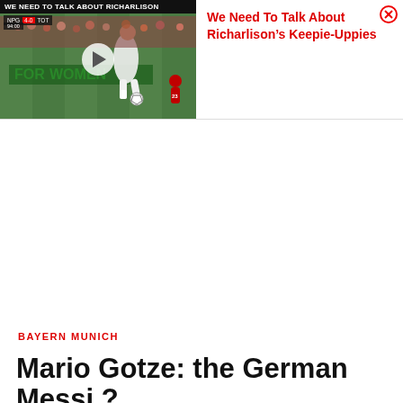[Figure (screenshot): Video thumbnail of a soccer match showing a player in white Tottenham kit performing keepie-uppies on a green pitch, with a play button overlay. Title bar reads 'WE NEED TO TALK ABOUT RICHARLISON'. Score bar visible top left.]
We Need To Talk About Richarlison's Keepie-Uppies
BAYERN MUNICH
Mario Gotze: the German Messi ?